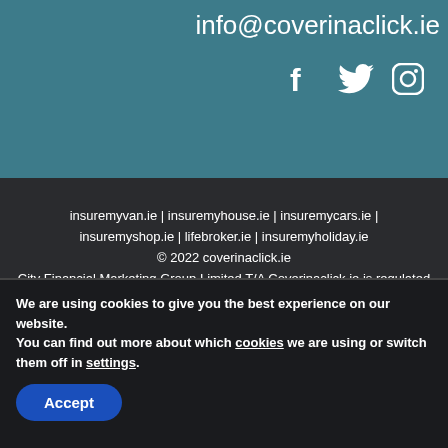info@coverinaclick.ie
[Figure (illustration): Social media icons: Facebook, Twitter, Instagram in white on teal background]
insuremyvan.ie | insuremyhouse.ie | insuremycars.ie | insuremyshop.ie | lifebroker.ie | insuremyholiday.ie
© 2022 coverinaclick.ie
City Financial Marketing Group Limited T/A Coverinaclick.ie is regulated by the Central Bank of Ireland. City Financial Marketing Group Limited is a company registered in Ireland.
We are using cookies to give you the best experience on our website.
You can find out more about which cookies we are using or switch them off in settings.
Accept